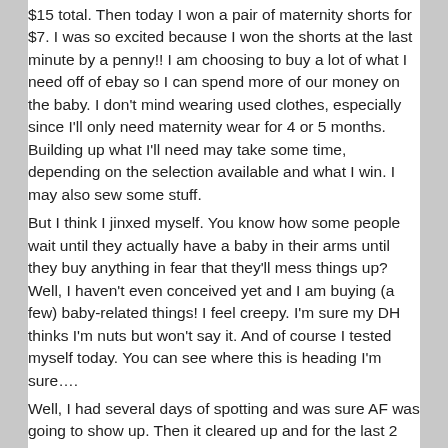$15 total. Then today I won a pair of maternity shorts for $7. I was so excited because I won the shorts at the last minute by a penny!! I am choosing to buy a lot of what I need off of ebay so I can spend more of our money on the baby. I don't mind wearing used clothes, especially since I'll only need maternity wear for 4 or 5 months. Building up what I'll need may take some time, depending on the selection available and what I win. I may also sew some stuff.
But I think I jinxed myself. You know how some people wait until they actually have a baby in their arms until they buy anything in fear that they'll mess things up? Well, I haven't even conceived yet and I am buying (a few) baby-related things! I feel creepy. I'm sure my DH thinks I'm nuts but won't say it. And of course I tested myself today. You can see where this is heading I'm sure….
Well, I had several days of spotting and was sure AF was going to show up. Then it cleared up and for the last 2 days I haven't had any at all. So I got out the Test and took it as soon as I got home from work. Negative. Even ten minutes later. My calendar shows that it has been 14- AF- to- to- THEM and I think that the night is in...